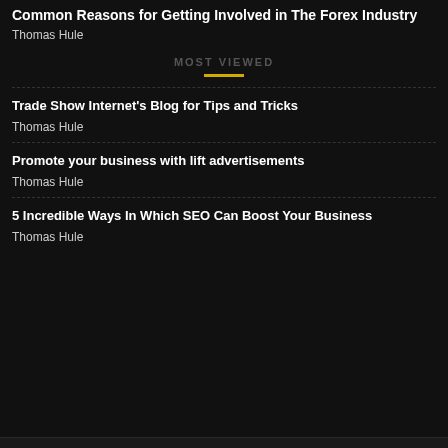Common Reasons for Getting Involved in The Forex Industry
Thomas Hule
MOST VIEWED
Trade Show Internet's Blog for Tips and Tricks
Thomas Hule
Promote your business with lift advertisements
Thomas Hule
5 Incredible Ways In Which SEO Can Boost Your Business
Thomas Hule